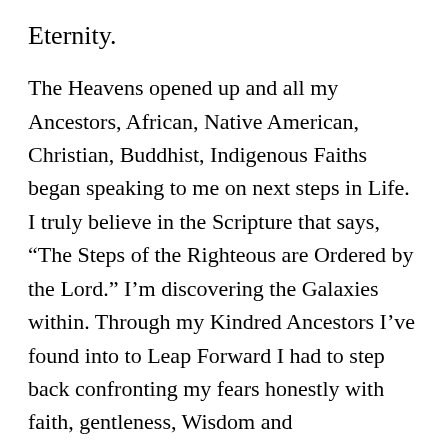Eternity.
The Heavens opened up and all my Ancestors, African, Native American, Christian, Buddhist, Indigenous Faiths began speaking to me on next steps in Life.  I truly believe in the Scripture that says, “The Steps of the Righteous are Ordered by the Lord.”  I’m discovering the Galaxies within. Through my Kindred Ancestors I’ve found into to Leap Forward I had to step back confronting my fears honestly with faith, gentleness, Wisdom and Understanding. I gather each of my broken pieces, honor the Divinity of each shard, embrace my tears, and like Isis I’ve gathered the pieces of my scattered tribes and Ethiopia is Reborn!  Shall these dry bones live?  Yes says the Creator of the